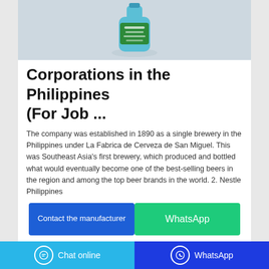[Figure (photo): Product image showing a blue cleaning product bottle with a green label, placed against a light gray background with a subtle reflection.]
Corporations in the Philippines (For Job ...
The company was established in 1890 as a single brewery in the Philippines under La Fabrica de Cerveza de San Miguel. This was Southeast Asia's first brewery, which produced and bottled what would eventually become one of the best-selling beers in the region and among the top beer brands in the world. 2. Nestle Philippines
[Figure (screenshot): Two buttons side by side: 'Contact the manufacturer' (blue) and 'WhatsApp' (green)]
Chat online | WhatsApp